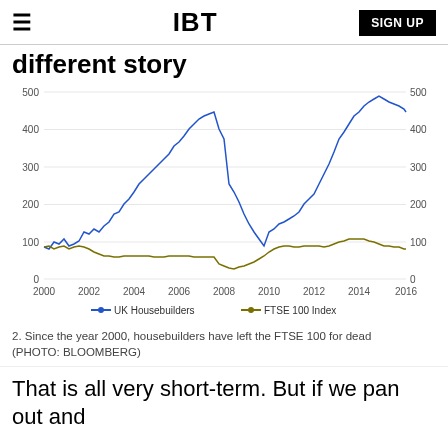IBT | SIGN UP
different story
[Figure (line-chart): Line chart showing UK Housebuilders index vs FTSE 100 Index from 2000 to 2016. UK Housebuilders rose from ~100 in 2000, peaked at ~450 around 2007, crashed to ~60 in 2009, then rose sharply to ~490 by 2016. FTSE 100 stayed relatively flat between 60–100 throughout.]
2. Since the year 2000, housebuilders have left the FTSE 100 for dead (PHOTO: BLOOMBERG)
That is all very short-term. But if we pan out and